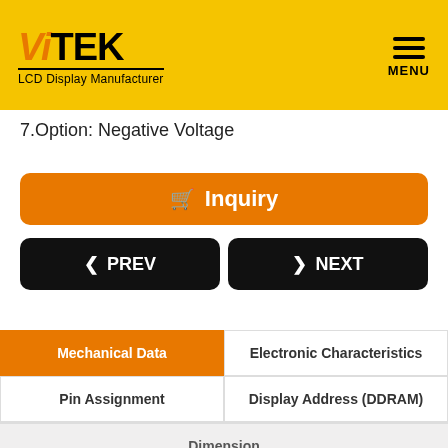[Figure (logo): ViTEK LCD Display Manufacturer logo on yellow background with hamburger menu icon and MENU label]
7.Option: Negative Voltage
Inquiry button (shopping cart icon)
< PREV | > NEXT navigation buttons
| Mechanical Data | Electronic Characteristics |
| --- | --- |
| Pin Assignment | Display Address (DDRAM) |
| Dimension |  |